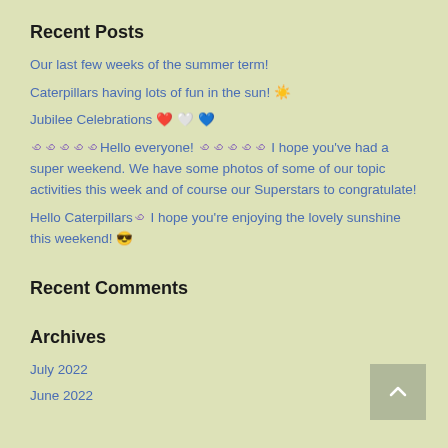Recent Posts
Our last few weeks of the summer term!
Caterpillars having lots of fun in the sun! ☀️
Jubilee Celebrations ❤️ 🤍 💙
🐛🐛🐛🐛🐛Hello everyone! 🐛🐛🐛🐛🐛 I hope you've had a super weekend. We have some photos of some of our topic activities this week and of course our Superstars to congratulate!
Hello Caterpillars🐛 I hope you're enjoying the lovely sunshine this weekend! 😎
Recent Comments
Archives
July 2022
June 2022